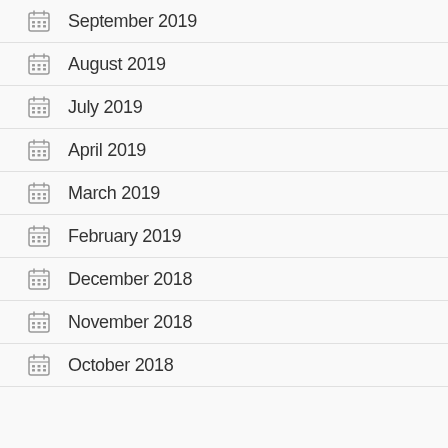September 2019
August 2019
July 2019
April 2019
March 2019
February 2019
December 2018
November 2018
October 2018